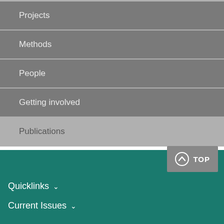Projects
Methods
People
Getting involved
Publications
TOP  Quicklinks  Current Issues